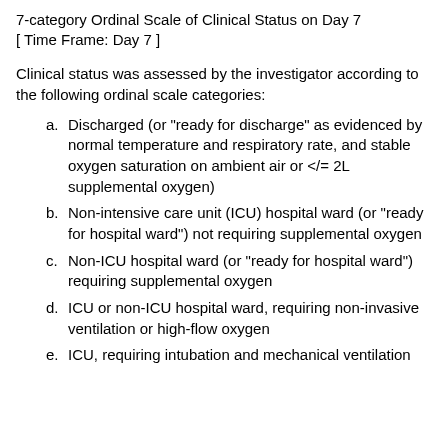7-category Ordinal Scale of Clinical Status on Day 7 [ Time Frame: Day 7 ]
Clinical status was assessed by the investigator according to the following ordinal scale categories:
a. Discharged (or "ready for discharge" as evidenced by normal temperature and respiratory rate, and stable oxygen saturation on ambient air or </= 2L supplemental oxygen)
b. Non-intensive care unit (ICU) hospital ward (or "ready for hospital ward") not requiring supplemental oxygen
c. Non-ICU hospital ward (or "ready for hospital ward") requiring supplemental oxygen
d. ICU or non-ICU hospital ward, requiring non-invasive ventilation or high-flow oxygen
e. ICU, requiring intubation and mechanical ventilation